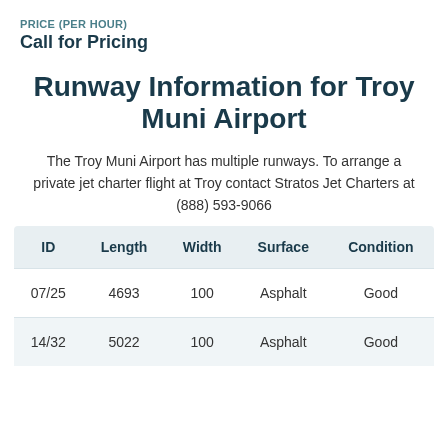PRICE (PER HOUR)
Call for Pricing
Runway Information for Troy Muni Airport
The Troy Muni Airport has multiple runways. To arrange a private jet charter flight at Troy contact Stratos Jet Charters at (888) 593-9066
| ID | Length | Width | Surface | Condition |
| --- | --- | --- | --- | --- |
| 07/25 | 4693 | 100 | Asphalt | Good |
| 14/32 | 5022 | 100 | Asphalt | Good |